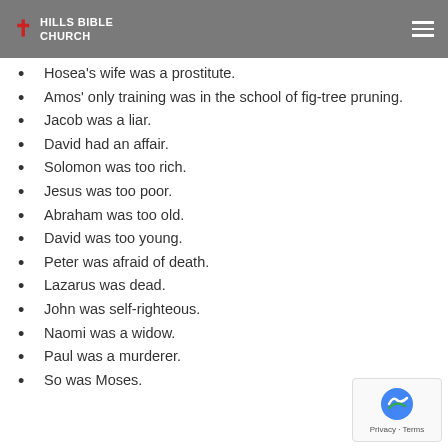Hills Bible Church
Hosea's wife was a prostitute.
Amos' only training was in the school of fig-tree pruning.
Jacob was a liar.
David had an affair.
Solomon was too rich.
Jesus was too poor.
Abraham was too old.
David was too young.
Peter was afraid of death.
Lazarus was dead.
John was self-righteous.
Naomi was a widow.
Paul was a murderer.
So was Moses.